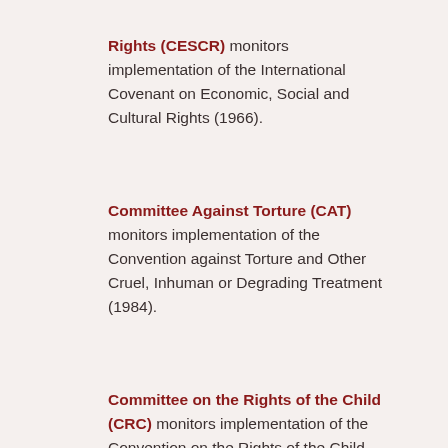Rights (CESCR) monitors implementation of the International Covenant on Economic, Social and Cultural Rights (1966).
Committee Against Torture (CAT) monitors implementation of the Convention against Torture and Other Cruel, Inhuman or Degrading Treatment (1984).
Committee on the Rights of the Child (CRC) monitors implementation of the Convention on the Rights of the Child (1989) and its optional protocols (2000).